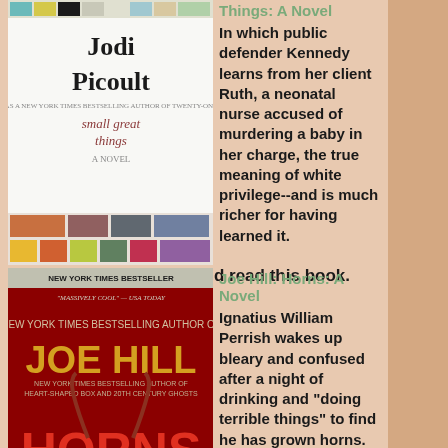[Figure (photo): Book cover: Jodi Picoult - Small Great Things: A Novel, with colorful grid squares at top and bottom]
Things: A Novel
In which public defender Kennedy learns from her client Ruth, a neonatal nurse accused of murdering a baby in her charge, the true meaning of white privilege--and is much richer for having learned it. Every white person should read this book. (****)
[Figure (photo): Book cover: Joe Hill - Horns: A Novel, dark red background with yellow title text and horns imagery, New York Times Bestseller]
Joe Hill: Horns: A Novel
Ignatius William Perrish wakes up bleary and confused after a night of drinking and "doing terrible things" to find he has grown horns. The horns give Ig the power to make people admit awful things they have done or want to do. This bizarre affliction is of particular use to Ig, who is still grieving over the murder of his